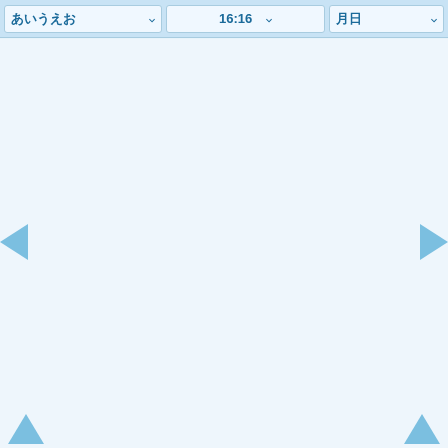[Figure (screenshot): Web application UI with a toolbar at the top containing three dropdown menus showing Japanese text, time '16:16', and two characters. The main area is a light blue empty canvas. Navigation arrows appear on the left and right sides at mid-height, and two upward-pointing triangle arrows at the bottom corners.]